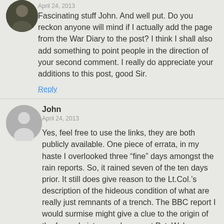April 24, 2013
Fascinating stuff John. And well put. Do you reckon anyone will mind if I actually add the page from the War Diary to the post? I think I shall also add something to point people in the direction of your second comment. I really do appreciate your additions to this post, good Sir.
Reply
John
April 24, 2013
Yes, feel free to use the links, they are both publicly available. One piece of errata, in my haste I overlooked three “fine” days amongst the rain reports. So, it rained seven of the ten days prior. It still does give reason to the Lt.Col.’s description of the hideous condition of what are really just remnants of a trench. The BBC report I would surmise might give a clue to the origin of the framed picture and poem at Pvt. Wykes grave.
One small hint to the War Diary link I left, if you